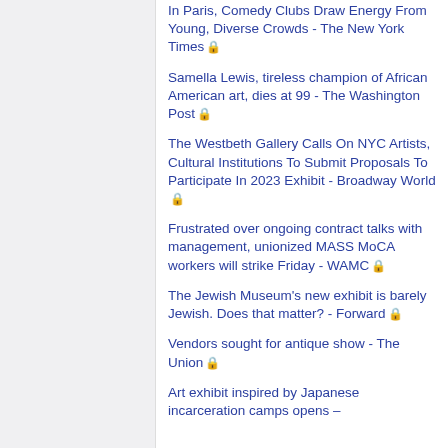In Paris, Comedy Clubs Draw Energy From Young, Diverse Crowds - The New York Times 🔒
Samella Lewis, tireless champion of African American art, dies at 99 - The Washington Post 🔒
The Westbeth Gallery Calls On NYC Artists, Cultural Institutions To Submit Proposals To Participate In 2023 Exhibit - Broadway World 🔒
Frustrated over ongoing contract talks with management, unionized MASS MoCA workers will strike Friday - WAMC 🔒
The Jewish Museum's new exhibit is barely Jewish. Does that matter? - Forward 🔒
Vendors sought for antique show - The Union 🔒
Art exhibit inspired by Japanese incarceration camps opens –